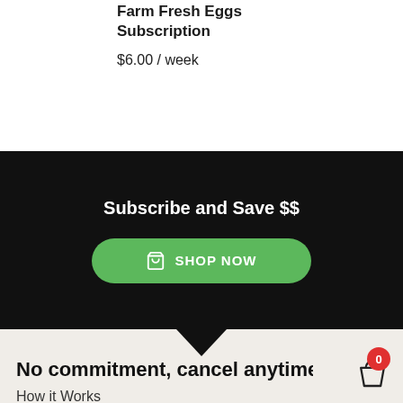Farm Fresh Eggs Subscription
$6.00 / week
Subscribe and Save $$
SHOP NOW
No commitment, cancel anytime!
How it Works